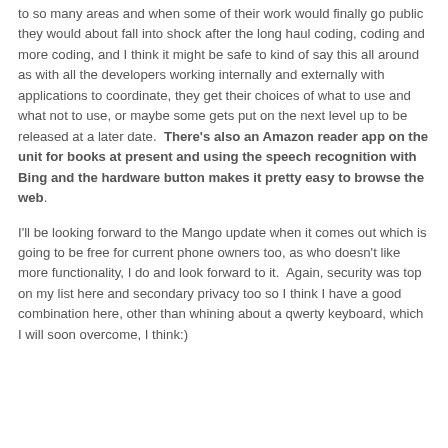to so many areas and when some of their work would finally go public they would about fall into shock after the long haul coding, coding and more coding, and I think it might be safe to kind of say this all around as with all the developers working internally and externally with applications to coordinate, they get their choices of what to use and what not to use, or maybe some gets put on the next level up to be released at a later date.  There's also an Amazon reader app on the unit for books at present and using the speech recognition with Bing and the hardware button makes it pretty easy to browse the web.
I'll be looking forward to the Mango update when it comes out which is going to be free for current phone owners too, as who doesn't like more functionality, I do and look forward to it.  Again, security was top on my list here and secondary privacy too so I think I have a good combination here, other than whining about a qwerty keyboard, which I will soon overcome, I think:)